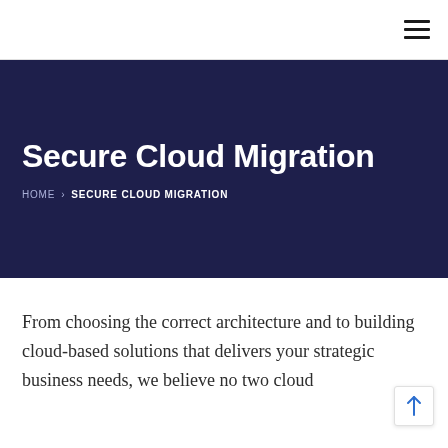hamburger menu icon
Secure Cloud Migration
HOME › SECURE CLOUD MIGRATION
From choosing the correct architecture and to building cloud-based solutions that delivers your strategic business needs, we believe no two cloud